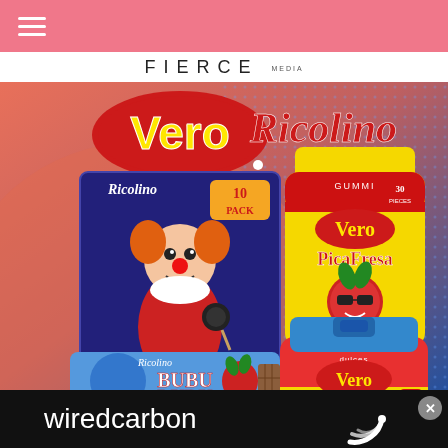FIERCE media
[Figure (photo): Product photo showing Vero and Ricolino brand candy products including Paleta Payaso 10-pack, Vero PicaFresa gummy candy bag (30 pieces), Vero Mango candy bag, and Ricolino Bubu Lubu chocolate bar, displayed against a gradient coral-pink and blue dotted background]
[Figure (logo): wiredcarbon logo — white text on black background with a stylized circular swoosh icon to the right]